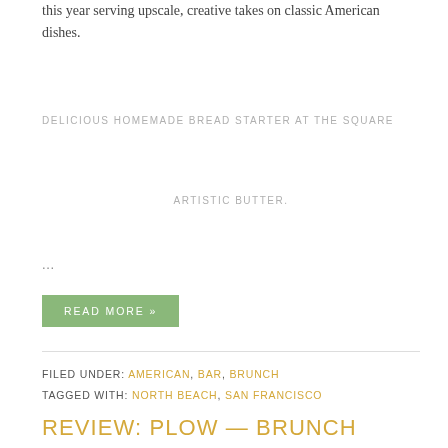this year serving upscale, creative takes on classic American dishes.
DELICIOUS HOMEMADE BREAD STARTER AT THE SQUARE
ARTISTIC BUTTER.
...
READ MORE »
FILED UNDER: AMERICAN, BAR, BRUNCH
TAGGED WITH: NORTH BEACH, SAN FRANCISCO
REVIEW: PLOW — BRUNCH